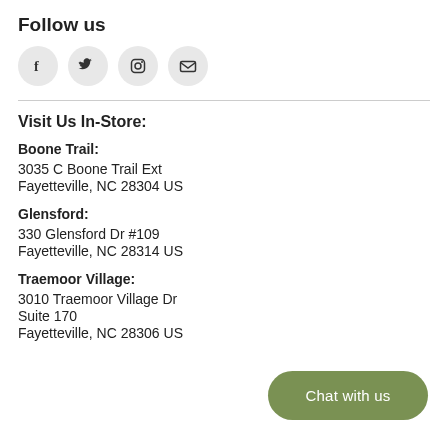Follow us
[Figure (infographic): Four social media icon circles: Facebook (f), Twitter (bird), Instagram (camera), Email (envelope)]
Visit Us In-Store:
Boone Trail:
3035 C Boone Trail Ext
Fayetteville, NC 28304 US
Glensford:
330 Glensford Dr #109
Fayetteville, NC 28314 US
Traemoor Village:
3010 Traemoor Village Dr
Suite 170
Fayetteville, NC 28306 US
Chat with us